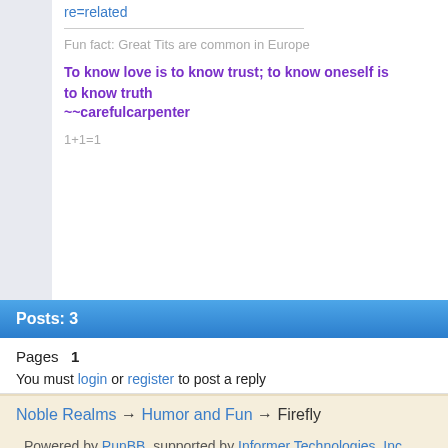re=related
Fun fact: Great Tits are common in Europe
To know love is to know trust; to know oneself is to know truth
~~carefulcarpenter
1+1=1
Posts: 3
Pages 1
You must login or register to post a reply
Noble Realms → Humor and Fun → Firefly
Powered by PunBB, supported by Informer Technologies, Inc.